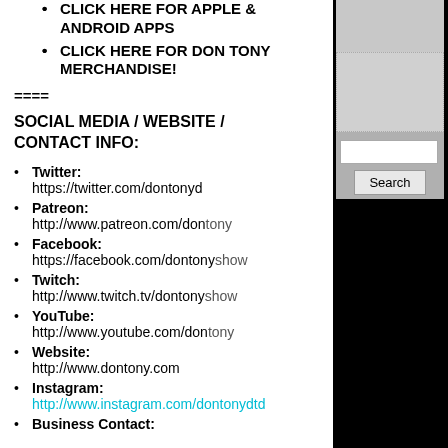CLICK HERE FOR APPLE & ANDROID APPS
CLICK HERE FOR DON TONY MERCHANDISE!
====
SOCIAL MEDIA / WEBSITE / CONTACT INFO:
Twitter: https://twitter.com/dontonyd
Patreon: http://www.patreon.com/dontony
Facebook: https://facebook.com/dontonyshow
Twitch: http://www.twitch.tv/dontonyshow
YouTube: http://www.youtube.com/dontony
Website: http://www.dontony.com
Instagram: http://www.instagram.com/dontonydtd
Business Contact:
[Figure (screenshot): Search widget with grey boxes and Search button on black background]